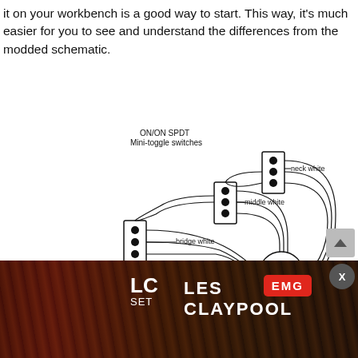it on your workbench is a good way to start. This way, it's much easier for you to see and understand the differences from the modded schematic.
[Figure (schematic): Guitar wiring schematic showing three ON/ON SPDT Mini-toggle switches connected to neck white, middle white, and bridge white pickups, feeding into a Master volume 250k pot and Tone 250k pot, with Solder point, Black wires from all pickups, and Sleeve (ground) label. Partially obscured by advertisement overlay.]
[Figure (photo): Advertisement overlay for EMG Les Claypool LC Set guitar pickups, showing a bass guitar with EMG logo badge, 'LC SET' text, 'LES CLAYPOOL' large text, and a close (X) button in the upper right.]